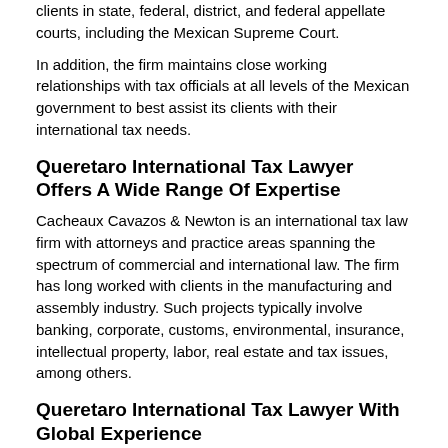clients in state, federal, district, and federal appellate courts, including the Mexican Supreme Court.
In addition, the firm maintains close working relationships with tax officials at all levels of the Mexican government to best assist its clients with their international tax needs.
Queretaro International Tax Lawyer Offers A Wide Range Of Expertise
Cacheaux Cavazos & Newton is an international tax law firm with attorneys and practice areas spanning the spectrum of commercial and international law. The firm has long worked with clients in the manufacturing and assembly industry. Such projects typically involve banking, corporate, customs, environmental, insurance, intellectual property, labor, real estate and tax issues, among others.
Queretaro International Tax Lawyer With Global Experience
Cacheaux, Cavazos & Newton is an international law firm with offices throughout Mexico in Reynosa, Monterrey, Mexico City, Querétaro, Matamoros and Ciudad Juárez, as well as in Texas, in San Antonio and McAllen. The firm features international tax attorneys who offer significant experience serving clients all over Mexico. With an in-depth understanding of